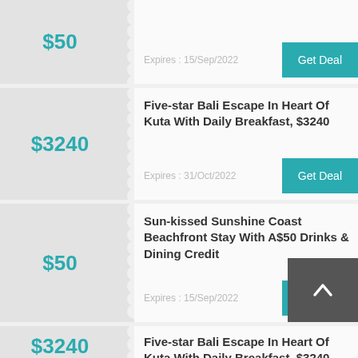[Figure (screenshot): Coupon card (partial top): price $50, expires 15/Sep/2022, Get Deal button]
[Figure (screenshot): Coupon card: Five-star Bali Escape In Heart Of Kuta With Daily Breakfast, $3240, expires 31/Oct/2022, Get Deal button]
[Figure (screenshot): Coupon card: Sun-kissed Sunshine Coast Beachfront Stay With A$50 Drinks & Dining Credit, $50, expires 15/Sep/2022, Get Deal button]
[Figure (screenshot): Coupon card (partial bottom): Five-star Bali Escape In Heart Of Kuta With Daily Breakfast, $3240, expires 31/Oct/2022, Get Deal button]